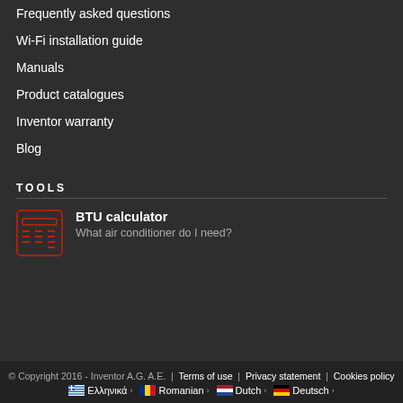Frequently asked questions
Wi-Fi installation guide
Manuals
Product catalogues
Inventor warranty
Blog
TOOLS
BTU calculator
What air conditioner do I need?
© Copyright 2016 - Inventor A.G. A.E. | Terms of use | Privacy statement | Cookies policy
Ελληνικά  Romanian  Dutch  Deutsch